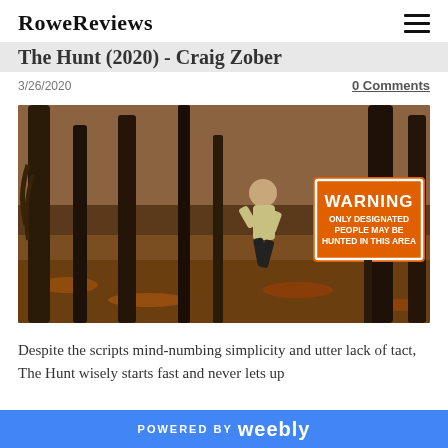RoweReviews
The Hunt (2020) - Craig Zober
3/26/2020
0 Comments
[Figure (photo): A person running through an autumn forest with trees and fallen leaves. In the foreground is an orange WARNING sign that reads: WARNING ONLY DESIGNATED PEOPLE MAY BE HUNTED IN THIS AREA]
Despite the scripts mind-numbing simplicity and utter lack of tact, The Hunt wisely starts fast and never lets up
POWERED BY weebly